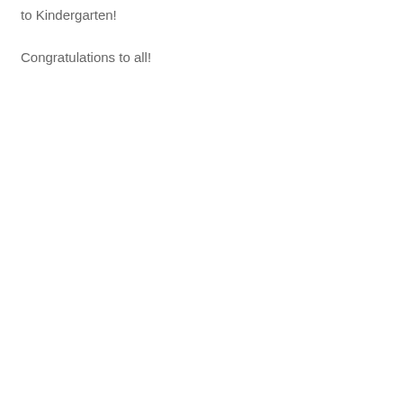to Kindergarten!
Congratulations to all!